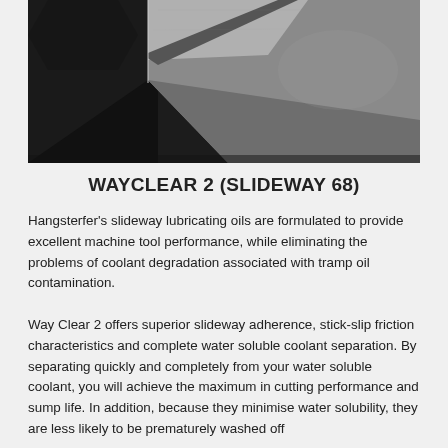[Figure (photo): Close-up photograph of dark metallic machine tool slideway surfaces showing precision machined edges and joints against a dark background.]
WAYCLEAR 2 (SLIDEWAY 68)
Hangsterfer's slideway lubricating oils are formulated to provide excellent machine tool performance, while eliminating the problems of coolant degradation associated with tramp oil contamination.
Way Clear 2 offers superior slideway adherence, stick-slip friction characteristics and complete water soluble coolant separation. By separating quickly and completely from your water soluble coolant, you will achieve the maximum in cutting performance and sump life. In addition, because they minimise water solubility, they are less likely to be prematurely washed off the...